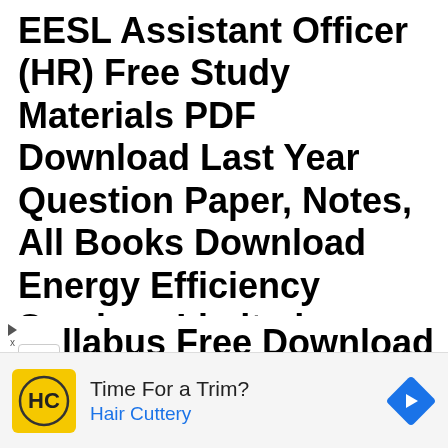EESL Assistant Officer (HR) Free Study Materials PDF Download Last Year Question Paper, Notes, All Books Download Energy Efficiency Services Limited (EESL) EESL Assistant Officer (HR) Notes & Syllabus Free Download
[Figure (screenshot): Advertisement banner for Hair Cuttery showing logo, 'Time For a Trim?' text, 'Hair Cuttery' in blue, and a blue navigation arrow icon on the right.]